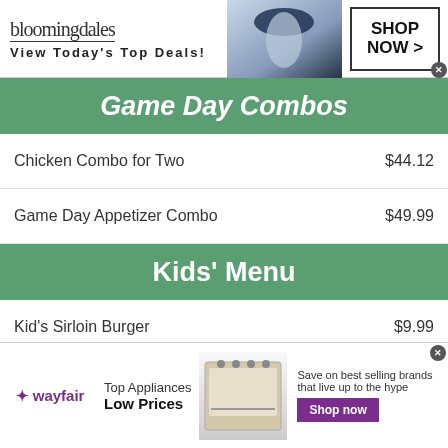[Figure (screenshot): Bloomingdales advertisement banner: logo 'bloomingdales', text 'View Today's Top Deals!', image of woman in hat, 'SHOP NOW >' button]
Game Day Combos
Chicken Combo for Two   $44.12
Game Day Appetizer Combo   $49.99
Kids' Menu
Kid's Sirloin Burger   $9.99
Chicken Bites   $7.99
Cheese Cheese Pizza   $9.42
[Figure (screenshot): Wayfair advertisement banner: logo 'wayfair', 'Top Appliances Low Prices', image of stove/range, 'Save on best selling brands that live up to the hype', 'Shop now' purple button]